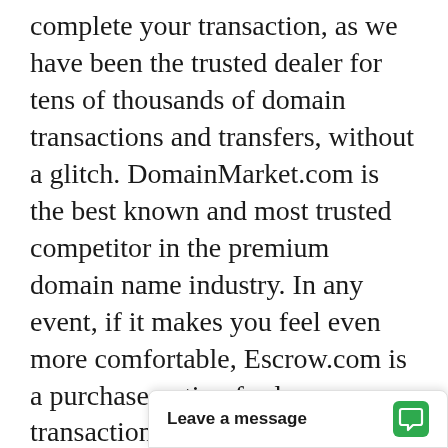complete your transaction, as we have been the trusted dealer for tens of thousands of domain transactions and transfers, without a glitch. DomainMarket.com is the best known and most trusted competitor in the premium domain name industry. In any event, if it makes you feel even more comfortable, Escrow.com is a purchase option for large transactions.
The asking price for SavvyTourista.com is based on a careful and professional appraisal by the world's leading experts on domain valuations, the inventors of ecommerce for premium domains. The price is explicitly certified to be fair by real experts, so the buyer can be confident in the great long-term value and investment opportunity for the unique domain asset in question.
Yo...
Leave a message